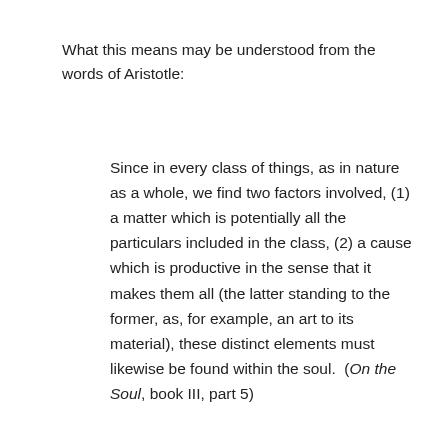What this means may be understood from the words of Aristotle:
Since in every class of things, as in nature as a whole, we find two factors involved, (1) a matter which is potentially all the particulars included in the class, (2) a cause which is productive in the sense that it makes them all (the latter standing to the former, as, for example, an art to its material), these distinct elements must likewise be found within the soul.  (On the Soul, book III, part 5)